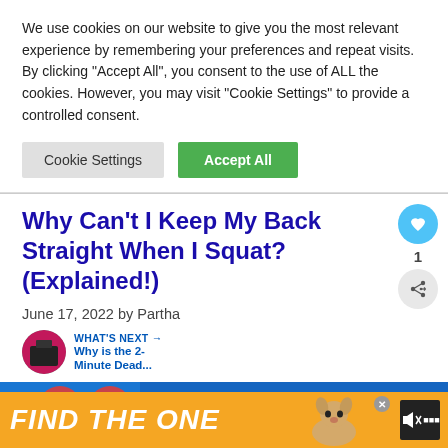We use cookies on our website to give you the most relevant experience by remembering your preferences and repeat visits. By clicking “Accept All”, you consent to the use of ALL the cookies. However, you may visit "Cookie Settings" to provide a controlled consent.
Cookie Settings
Accept All
Why Can’t I Keep My Back Straight When I Squat? (Explained!)
June 17, 2022 by Partha
WHAT’S NEXT → Why is the 2-Minute Dead...
[Figure (photo): Article thumbnail image showing weight plates, partially visible]
[Figure (infographic): Ad banner: orange background with white bold italic text FIND THE ONE, dog image, close X button, mute button with speaker icon]